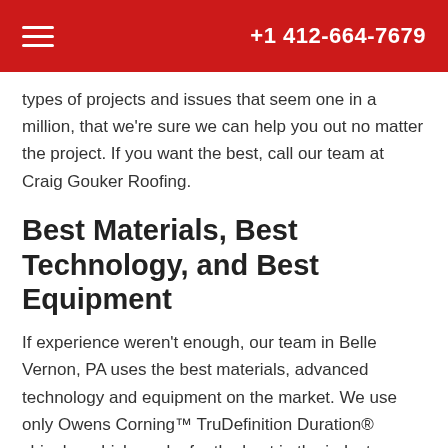+1 412-664-7679
types of projects and issues that seem one in a million, that we're sure we can help you out no matter the project. If you want the best, call our team at Craig Gouker Roofing.
Best Materials, Best Technology, and Best Equipment
If experience weren't enough, our team in Belle Vernon, PA uses the best materials, advanced technology and equipment on the market. We use only Owens Corning™ TruDefinition Duration® shingles which are by far the best in the industry when it comes to water and wind resistance.
During the design and planning stages of your